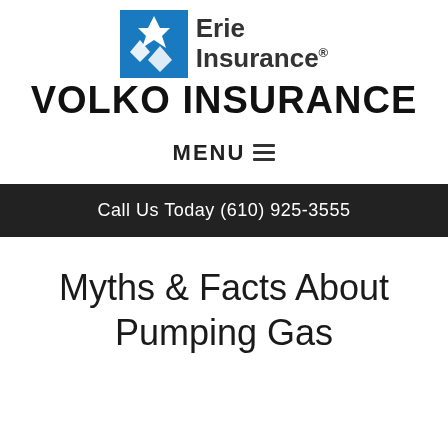[Figure (logo): Erie Insurance logo with blue building icon and 'Erie Insurance' text with registered trademark symbol]
VOLKO INSURANCE
MENU ≡
Call Us Today (610) 925-3555
Myths & Facts About Pumping Gas